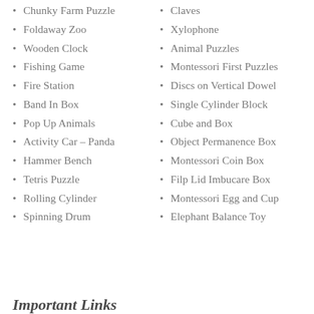Chunky Farm Puzzle
Foldaway Zoo
Wooden Clock
Fishing Game
Fire Station
Band In Box
Pop Up Animals
Activity Car – Panda
Hammer Bench
Tetris Puzzle
Rolling Cylinder
Spinning Drum
Claves
Xylophone
Animal Puzzles
Montessori First Puzzles
Discs on Vertical Dowel
Single Cylinder Block
Cube and Box
Object Permanence Box
Montessori Coin Box
Filp Lid Imbucare Box
Montessori Egg and Cup
Elephant Balance Toy
Important Links